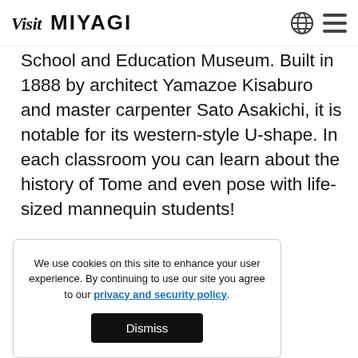Visit MIYAGI
School and Education Museum. Built in 1888 by architect Yamazoe Kisaburo and master carpenter Sato Asakichi, it is notable for its western-style U-shape. In each classroom you can learn about the history of Tome and even pose with life-sized mannequin students!
We use cookies on this site to enhance your user experience. By continuing to use our site you agree to our privacy and security policy. Dismiss